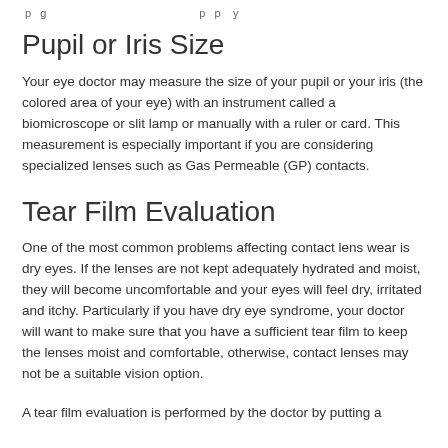…pupil or iris size … contact lens specialty
Pupil or Iris Size
Your eye doctor may measure the size of your pupil or your iris (the colored area of your eye) with an instrument called a biomicroscope or slit lamp or manually with a ruler or card. This measurement is especially important if you are considering specialized lenses such as Gas Permeable (GP) contacts.
Tear Film Evaluation
One of the most common problems affecting contact lens wear is dry eyes. If the lenses are not kept adequately hydrated and moist, they will become uncomfortable and your eyes will feel dry, irritated and itchy. Particularly if you have dry eye syndrome, your doctor will want to make sure that you have a sufficient tear film to keep the lenses moist and comfortable, otherwise, contact lenses may not be a suitable vision option.
A tear film evaluation is performed by the doctor by putting a